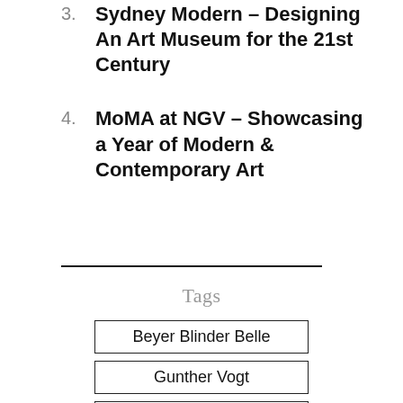3. Sydney Modern – Designing An Art Museum for the 21st Century
4. MoMA at NGV – Showcasing a Year of Modern & Contemporary Art
Tags
Beyer Blinder Belle
Gunther Vogt
Madison Avenue
Marcel Breuer